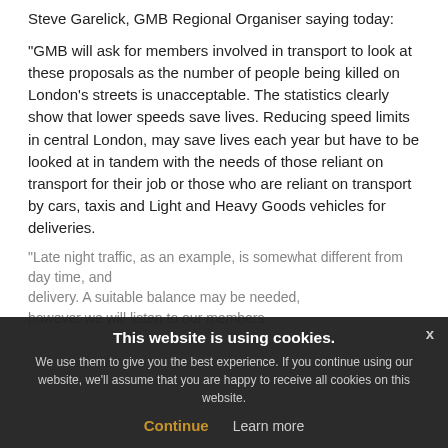Steve Garelick, GMB Regional Organiser saying today:
"GMB will ask for members involved in transport to look at these proposals as the number of people being killed on London’s streets is unacceptable. The statistics clearly show that lower speeds save lives. Reducing speed limits in central London, may save lives each year but have to be looked at in tandem with the needs of those reliant on transport for their job or those who are reliant on transport by cars, taxis and Light and Heavy Goods vehicles for deliveries.
"Late night traffic, as an example, is somewhat different from day time, and delivery. A suitable balance may be needed, however we will listen to our members
This website is using cookies. We use them to give you the best experience. If you continue using our website, we'll assume that you are happy to receive all cookies on this website. Continue Learn more